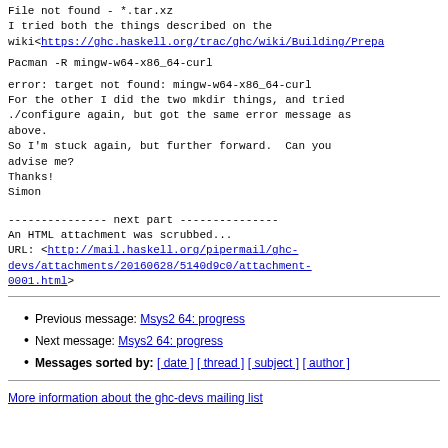File not found - *.tar.xz
I tried both the things described on the wiki<https://ghc.haskell.org/trac/ghc/wiki/Building/Prepa
Pacman -R mingw-w64-x86_64-curl
error: target not found: mingw-w64-x86_64-curl
For the other I did the two mkdir things, and tried ./configure again, but got the same error message as above.
So I'm stuck again, but further forward.  Can you advise me?
Thanks!
Simon
--------------- next part ---------------
An HTML attachment was scrubbed...
URL: <http://mail.haskell.org/pipermail/ghc-devs/attachments/20160628/5140d9c0/attachment-0001.html>
Previous message: Msys2 64: progress
Next message: Msys2 64: progress
Messages sorted by: [ date ] [ thread ] [ subject ] [ author ]
More information about the ghc-devs mailing list